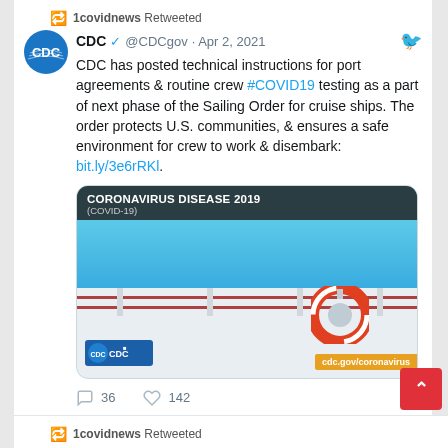1covidnews Retweeted
CDC @CDCgov · Apr 2, 2021
CDC has posted technical instructions for port agreements & routine crew #COVID19 testing as a part of next phase of the Sailing Order for cruise ships. The order protects U.S. communities, & ensures a safe environment for crew to work & disembark: bit.ly/3e6rRKl.
[Figure (photo): CDC coronavirus disease 2019 (COVID-19) branded image showing a cruise ship deck with life preserver ring, blue ocean in background, CDC logo bottom left, cdc.gov/coronavirus label bottom right]
36 replies · 142 likes
1covidnews Retweeted